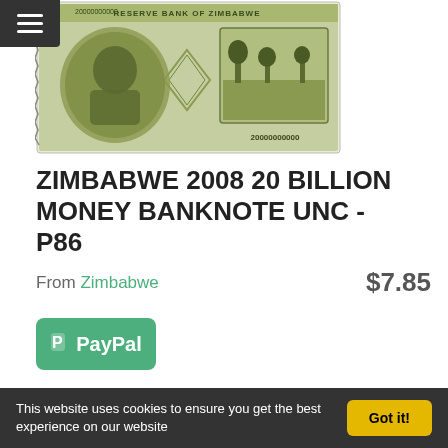[Figure (photo): Zimbabwe 2008 20 Billion dollar banknote, green colored, showing 20000000000 printed on it with Reserve Bank of Zimbabwe text and imagery of a landscape/ruins]
ZIMBABWE 2008 20 BILLION MONEY BANKNOTE UNC - P86
From Zimbabwe   $7.85
[Figure (logo): PayPal logo button in teal/green color with white PayPal text and P logo]
This website uses cookies to ensure you get the best experience on our website